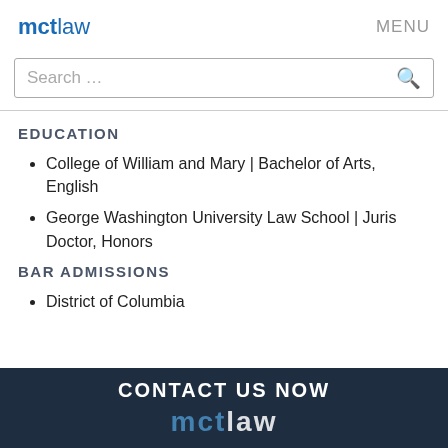mctlaw  MENU
Search …
EDUCATION
College of William and Mary | Bachelor of Arts, English
George Washington University Law School | Juris Doctor, Honors
BAR ADMISSIONS
District of Columbia
CONTACT US NOW  mctlaw